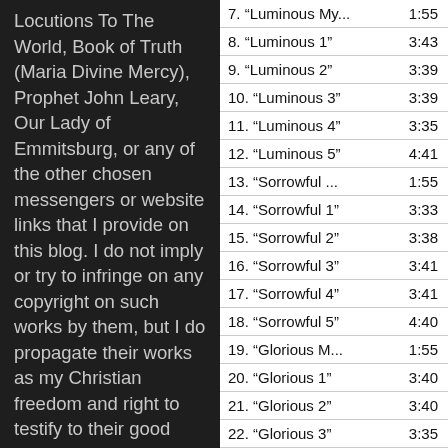Locutions To The World, Book of Truth (Maria Divine Mercy), Prophet John Leary, Our Lady of Emmitsburg, or any of the other chosen messengers or website links that I provide on this blog. I do not imply or try to infringe on any copyright on such works by them, but I do propagate their works as my Christian freedom and right to testify to their good fruit in my life. I pray to Our Lady as Mary
| Track | Time |
| --- | --- |
| 7. “Luminous My... | 1:55 |
| 8. “Luminous 1” | 3:43 |
| 9. “Luminous 2” | 3:39 |
| 10. “Luminous 3” | 3:39 |
| 11. “Luminous 4” | 3:35 |
| 12. “Luminous 5” | 4:41 |
| 13. “Sorrowful ... | 1:55 |
| 14. “Sorrowful 1” | 3:33 |
| 15. “Sorrowful 2” | 3:38 |
| 16. “Sorrowful 3” | 3:41 |
| 17. “Sorrowful 4” | 3:41 |
| 18. “Sorrowful 5” | 4:40 |
| 19. “Glorious M... | 1:55 |
| 20. “Glorious 1” | 3:40 |
| 21. “Glorious 2” | 3:40 |
| 22. “Glorious 3” | 3:35 |
| 23. “Glorious 4” | 3:44 |
| 24. “Glorious 5” | 4:41 |
| 25. “The Chaplet... | 9:31 |
| 26. “Holy Love P... | 11:41 |